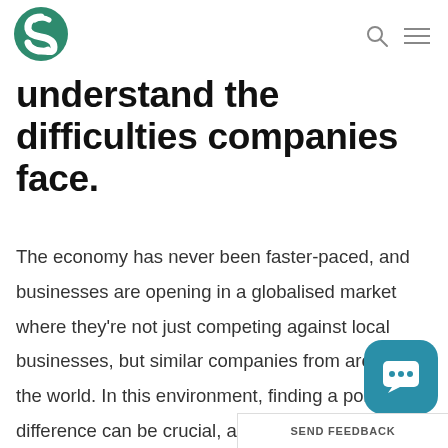[Figure (logo): Green circular logo with white S-shaped swoosh design]
understand the difficulties companies face.
The economy has never been faster-paced, and businesses are opening in a globalised market where they're not just competing against local businesses, but similar companies from around the world. In this environment, finding a point of difference can be crucial, and achieving ISO or AS/NZS certification could be just the
SEND FEEDBACK